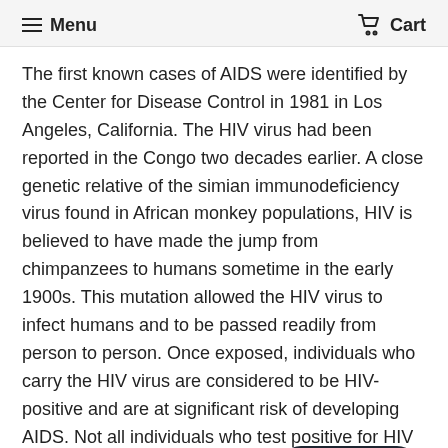Menu  Cart
The first known cases of AIDS were identified by the Center for Disease Control in 1981 in Los Angeles, California. The HIV virus had been reported in the Congo two decades earlier. A close genetic relative of the simian immunodeficiency virus found in African monkey populations, HIV is believed to have made the jump from chimpanzees to humans sometime in the early 1900s. This mutation allowed the HIV virus to infect humans and to be passed readily from person to person. Once exposed, individuals who carry the HIV virus are considered to be HIV-positive and are at significant risk of developing AIDS. Not all individuals who test positive for HIV will contract AIDS; it is not well understood what allow HIV positive persons to avoid developing t
Complications of AIDS